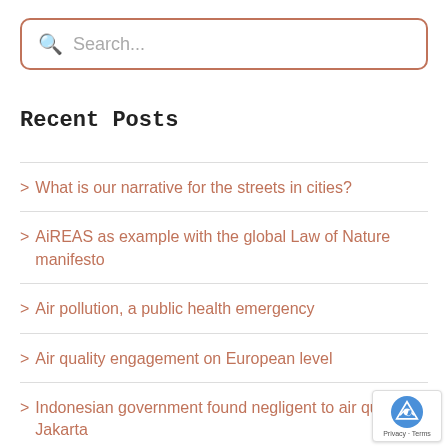[Figure (screenshot): Search input box with magnifying glass icon and placeholder text 'Search...']
Recent Posts
> What is our narrative for the streets in cities?
> AiREAS as example with the global Law of Nature manifesto
> Air pollution, a public health emergency
> Air quality engagement on European level
> Indonesian government found negligent to air quality in Jakarta